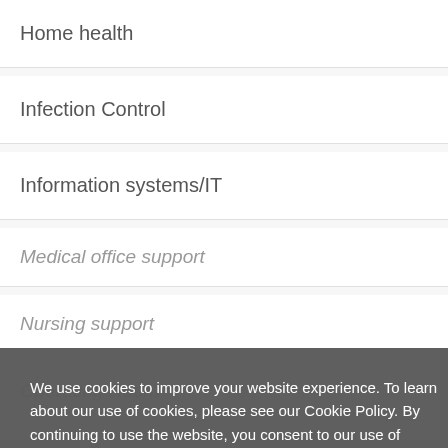Home health
Infection Control
Information systems/IT
Medical office support
Nursing support
Operating Room
Pharmacy
We use cookies to improve your website experience. To learn about our use of cookies, please see our Cookie Policy. By continuing to use the website, you consent to our use of cookies. Learn more
Got it!